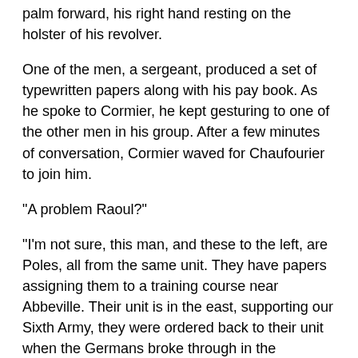palm forward, his right hand resting on the holster of his revolver.
One of the men, a sergeant, produced a set of typewritten papers along with his pay book. As he spoke to Cormier, he kept gesturing to one of the other men in his group. After a few minutes of conversation, Cormier waved for Chaufourier to join him.
"A problem Raoul?"
"I'm not sure, this man, and these to the left, are Poles, all from the same unit. They have papers assigning them to a training course near Abbeville. Their unit is in the east, supporting our Sixth Army, they were ordered back to their unit when the Germans broke through in the Ardennes. They were caught up in the fighting and are attempting to rejoin their unit." Cormier explained.
Podbielski spoke up, "We'll go anywhere you'd like us Caporal-Chef, anywhere we can kill Germans. This fellow with us is French, not one of us, but a good comrade and a